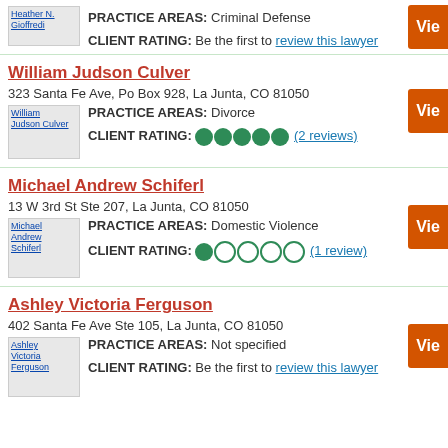PRACTICE AREAS: Criminal Defense
CLIENT RATING: Be the first to review this lawyer
William Judson Culver
323 Santa Fe Ave, Po Box 928, La Junta, CO 81050
PRACTICE AREAS: Divorce
CLIENT RATING: (2 reviews) 4 filled dots
Michael Andrew Schiferl
13 W 3rd St Ste 207, La Junta, CO 81050
PRACTICE AREAS: Domestic Violence
CLIENT RATING: (1 review) 1 filled dot
Ashley Victoria Ferguson
402 Santa Fe Ave Ste 105, La Junta, CO 81050
PRACTICE AREAS: Not specified
CLIENT RATING: Be the first to review this lawyer